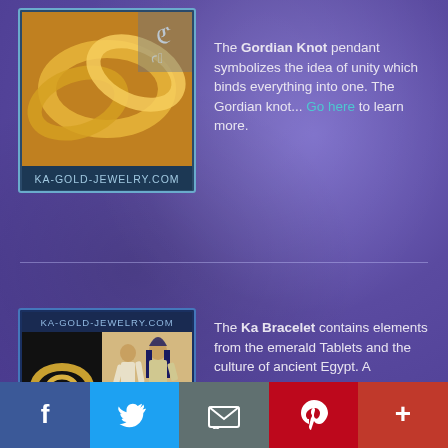[Figure (photo): Gordian Knot gold jewelry pendant photo from KA-GOLD-JEWELRY.COM]
The Gordian Knot pendant symbolizes the idea of unity which binds everything into one. The Gordian knot... Go here to learn more.
[Figure (photo): Ka Bracelet jewelry and ancient Egyptian figures from KA-GOLD-JEWELRY.COM]
The Ka Bracelet contains elements from the emerald Tablets and the culture of ancient Egypt. A translation of the hieroglyphs engraved on the bracelet is: "Rise up and awaken, you are not dead, your Ka will remain within you for eternity." Go here to learn more.
[Figure (photo): Merkaba symbol jewelry photo, partially visible]
The Merkaba symbol is based on the Prana
[Figure (infographic): Social sharing bar with Facebook, Twitter, Email, Pinterest, and More buttons]